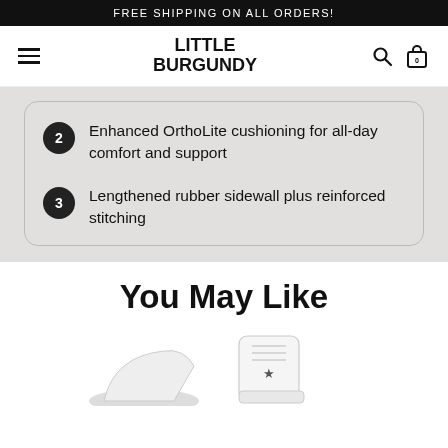FREE SHIPPING ON ALL ORDERS!
[Figure (screenshot): Little Burgundy navigation bar with hamburger menu, logo, search and bag icons]
2 Enhanced OrthoLite cushioning for all-day comfort and support
3 Lengthened rubber sidewall plus reinforced stitching
You May Like
[Figure (photo): Converse high-top white sneakers partially visible at the bottom of the page]